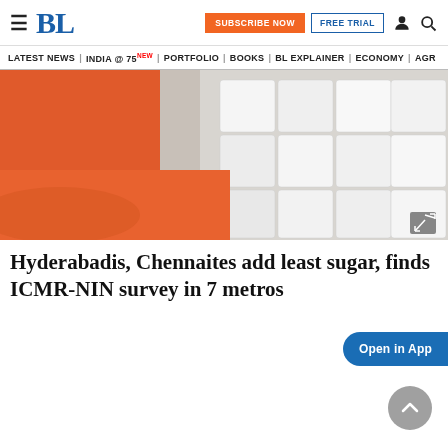BL | SUBSCRIBE NOW | FREE TRIAL
LATEST NEWS | INDIA @ 75 NEW | PORTFOLIO | BOOKS | BL EXPLAINER | ECONOMY | AGR
[Figure (photo): Close-up photo of white sugar cubes against an orange background]
Hyderabadis, Chennaites add least sugar, finds ICMR-NIN survey in 7 metros